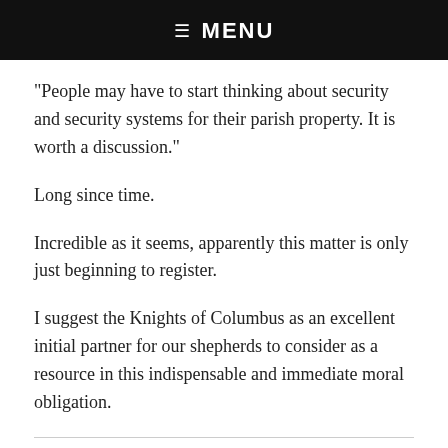☰  MENU
“People may have to start thinking about security and security systems for their parish property. It is worth a discussion.”
Long since time.
Incredible as it seems, apparently this matter is only just beginning to register.
I suggest the Knights of Columbus as an excellent initial partner for our shepherds to consider as a resource in this indispensable and immediate moral obligation.
Kerry says:
16 May 2012 at 7:10 PM